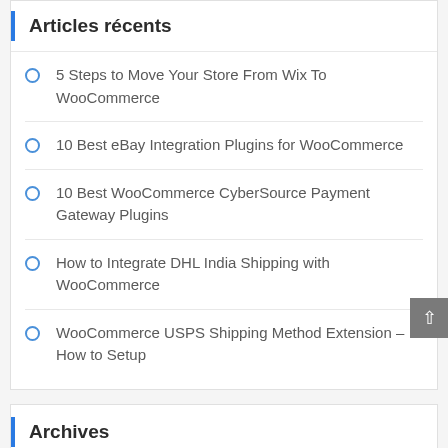Articles récents
5 Steps to Move Your Store From Wix To WooCommerce
10 Best eBay Integration Plugins for WooCommerce
10 Best WooCommerce CyberSource Payment Gateway Plugins
How to Integrate DHL India Shipping with WooCommerce
WooCommerce USPS Shipping Method Extension – How to Setup
Archives